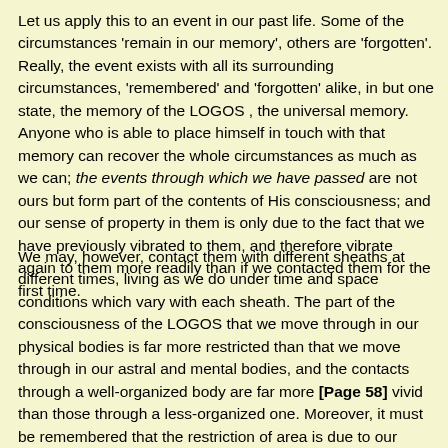Let us apply this to an event in our past life. Some of the circumstances 'remain in our memory', others are 'forgotten'. Really, the event exists with all its surrounding circumstances, 'remembered' and 'forgotten' alike, in but one state, the memory of the LOGOS , the universal memory. Anyone who is able to place himself in touch with that memory can recover the whole circumstances as much as we can; the events through which we have passed are not ours but form part of the contents of His consciousness; and our sense of property in them is only due to the fact that we have previously vibrated to them, and therefore vibrate again to them more readily than if we contacted them for the first time.
We may, however, contact them with different sheaths at different times, living as we do under time and space conditions which vary with each sheath. The part of the consciousness of the LOGOS that we move through in our physical bodies is far more restricted than that we move through in our astral and mental bodies, and the contacts through a well-organized body are far more [Page 58] vivid than those through a less-organized one. Moreover, it must be remembered that the restriction of area is due to our vehicles only; faced by the complete event, physical, astral,